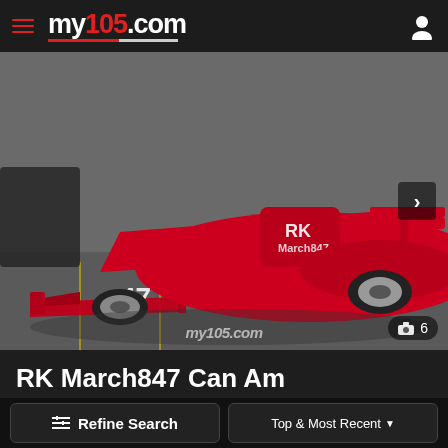my105.com
[Figure (photo): Red RK March847 Can Am racing car photographed in a parking lot, front-low angle view showing large front wing and wide bodywork. Number 47 and RK lettering visible on car.]
RK March847 Can Am
$145,000 AUD
Bob Fernley , Force India, owned the car and ran Jim
Refine Search   Top & Most Recent